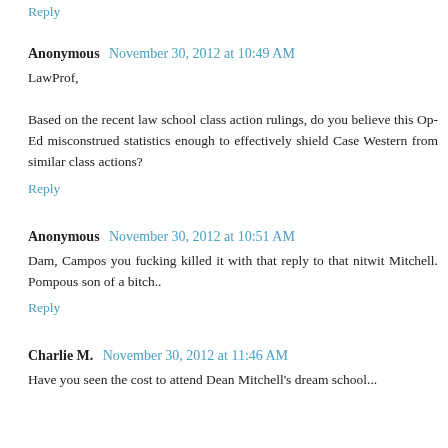Reply
Anonymous  November 30, 2012 at 10:49 AM
LawProf,

Based on the recent law school class action rulings, do you believe this Op-Ed misconstrued statistics enough to effectively shield Case Western from similar class actions?
Reply
Anonymous  November 30, 2012 at 10:51 AM
Dam, Campos you fucking killed it with that reply to that nitwit Mitchell. Pompous son of a bitch..
Reply
Charlie M.  November 30, 2012 at 11:46 AM
Have you seen the cost to attend Dean Mitchell's dream school...